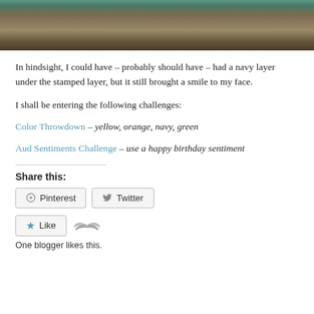[Figure (photo): Partial photo of what appears to be a crafting or desk surface, dark tones of teal and brown.]
In hindsight, I could have – probably should have – had a navy layer under the stamped layer, but it still brought a smile to my face.
I shall be entering the following challenges:
Color Throwdown – yellow, orange, navy, green
Aud Sentiments Challenge – use a happy birthday sentiment
Share this:
Pinterest   Twitter
Like
One blogger likes this.